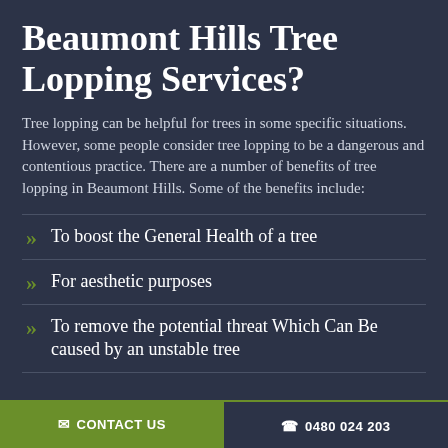Beaumont Hills Tree Lopping Services?
Tree lopping can be helpful for trees in some specific situations. However, some people consider tree lopping to be a dangerous and contentious practice. There are a number of benefits of tree lopping in Beaumont Hills. Some of the benefits include:
To boost the General Health of a tree
For aesthetic purposes
To remove the potential threat Which Can Be caused by an unstable tree
CONTACT US   0480 024 203